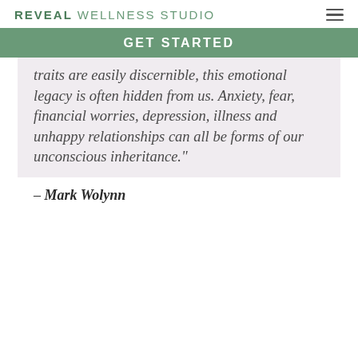REVEAL WELLNESS STUDIO
GET STARTED
traits are easily discernible, this emotional legacy is often hidden from us. Anxiety, fear, financial worries, depression, illness and unhappy relationships can all be forms of our unconscious inheritance."
– Mark Wolynn